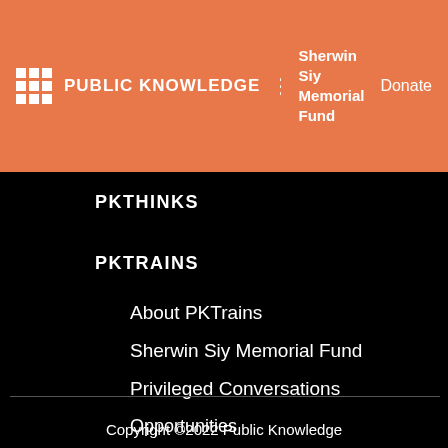PUBLIC KNOWLEDGE | Sherwin Siy Memorial Fund | Donate
PKTHINKS
PKTRAINS
About PKTrains
Sherwin Siy Memorial Fund
Privileged Conversations
Opportunities
Copyright ©2022 Public Knowledge